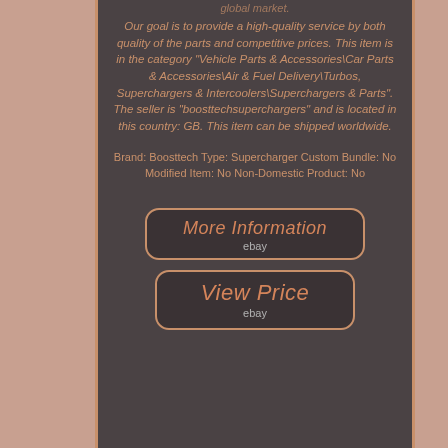global market.
Our goal is to provide a high-quality service by both quality of the parts and competitive prices. This item is in the category "Vehicle Parts & Accessories\Car Parts & Accessories\Air & Fuel Delivery\Turbos, Superchargers & Intercoolers\Superchargers & Parts". The seller is "boosttechsuperchargers" and is located in this country: GB. This item can be shipped worldwide.
Brand: Boosttech Type: Supercharger Custom Bundle: No Modified Item: No Non-Domestic Product: No
[Figure (other): Button/link labeled 'More Information' with 'ebay' subtitle, rounded rectangle border in copper color on dark background]
[Figure (other): Button/link labeled 'View Price' with 'ebay' subtitle, rounded rectangle border in copper color on dark background]